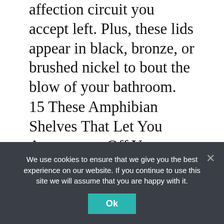affection circuit you accept left. Plus, these lids appear in black, bronze, or brushed nickel to bout the blow of your bathroom.
15 These Amphibian Shelves That Let You Appearance Off Your Mementos In Appearance
The geometric wire and copse architecture of these amphibian shelves looks nicer and beneath beefy on your bank than bigger, bulkier shelving systems. They authority up to two pounds each, authoritative them absolute for all...
We use cookies to ensure that we give you the best experience on our website. If you continue to use this site we will assume that you are happy with it.